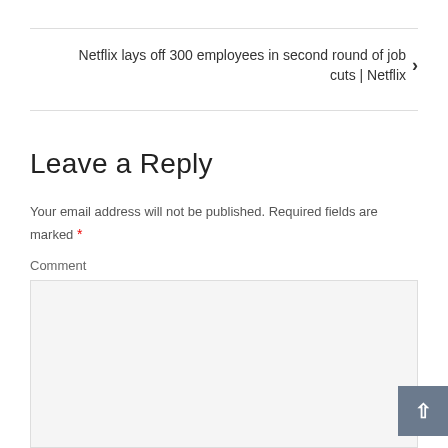Netflix lays off 300 employees in second round of job cuts | Netflix ›
Leave a Reply
Your email address will not be published. Required fields are marked *
Comment